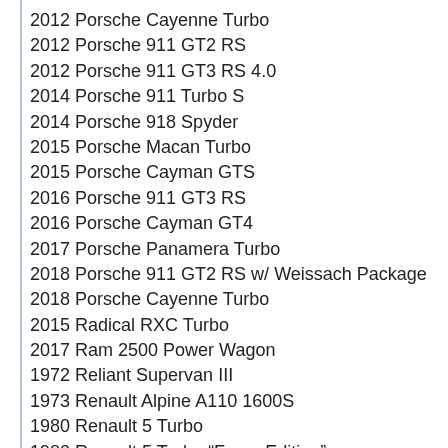2012 Porsche Cayenne Turbo
2012 Porsche 911 GT2 RS
2012 Porsche 911 GT3 RS 4.0
2014 Porsche 911 Turbo S
2014 Porsche 918 Spyder
2015 Porsche Macan Turbo
2015 Porsche Cayman GTS
2016 Porsche 911 GT3 RS
2016 Porsche Cayman GT4
2017 Porsche Panamera Turbo
2018 Porsche 911 GT2 RS w/ Weissach Package
2018 Porsche Cayenne Turbo
2015 Radical RXC Turbo
2017 Ram 2500 Power Wagon
1972 Reliant Supervan III
1973 Renault Alpine A110 1600S
1980 Renault 5 Turbo
1980 Renault 5 Turbo “Forza Edition”
1993 Renault Clio Williams
2010 Renault Clio RS
2010 Renault Clio RS “Forza Edition”